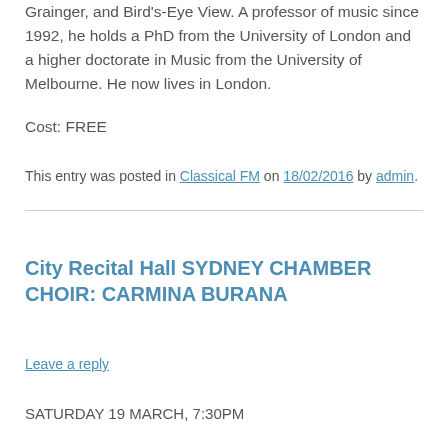Grainger, and Bird's-Eye View. A professor of music since 1992, he holds a PhD from the University of London and a higher doctorate in Music from the University of Melbourne. He now lives in London.
Cost: FREE
This entry was posted in Classical FM on 18/02/2016 by admin.
City Recital Hall SYDNEY CHAMBER CHOIR: CARMINA BURANA
Leave a reply
SATURDAY 19 MARCH, 7:30PM